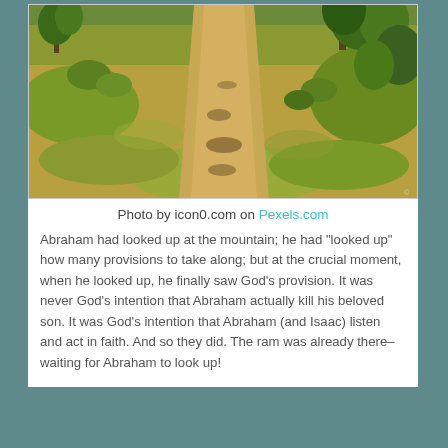[Figure (photo): A dirt trail winding through golden-green grassy hillside with scattered trees and shrubs, viewed from above looking down the path.]
Photo by icon0.com on Pexels.com
Abraham had looked up at the mountain; he had “looked up” how many provisions to take along; but at the crucial moment, when he looked up, he finally saw God’s provision. It was never God’s intention that Abraham actually kill his beloved son. It was God’s intention that Abraham (and Isaac) listen and act in faith. And so they did. The ram was already there– waiting for Abraham to look up!